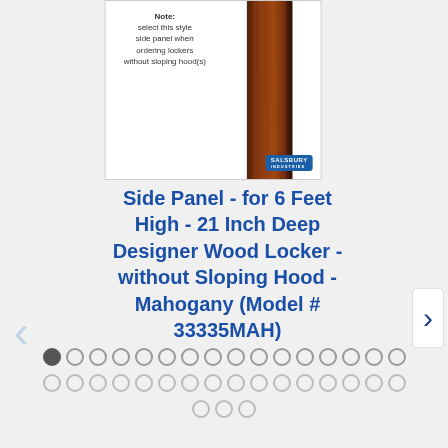[Figure (photo): Product image of a wood side panel (mahogany color) for a 6-foot high, 21-inch deep designer wood locker. Note text reads: 'Note: select this style side panel when ordering lockers without sloping hood(s)'. Salsbury Industries logo visible at bottom right of image.]
Side Panel - for 6 Feet High - 21 Inch Deep Designer Wood Locker - without Sloping Hood - Mahogany (Model # 33335MAH)